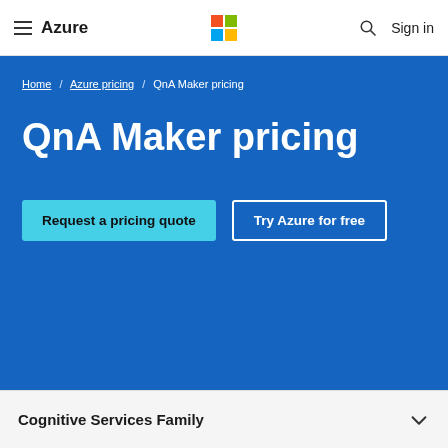≡ Azure | Microsoft logo | 🔍 Sign in
Home / Azure pricing / QnA Maker pricing
QnA Maker pricing
Request a pricing quote
Try Azure for free
Cognitive Services Family